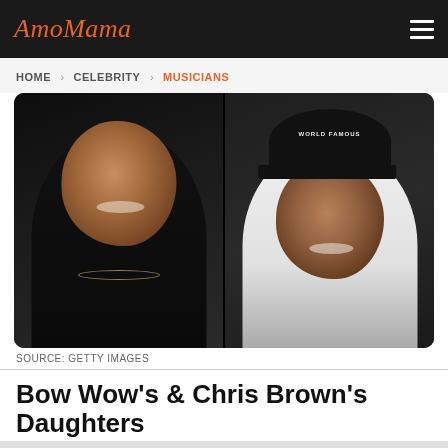AmoMama
HOME > CELEBRITY > MUSICIANS
[Figure (photo): Side-by-side photo of two men. Left: man in black turtleneck with chain necklace, smiling. Right: man in black cap reading 'WORLD FAMOUS' wearing white shirt with chain necklace.]
SOURCE: GETTY IMAGES
Bow Wow's & Chris Brown's Daughters